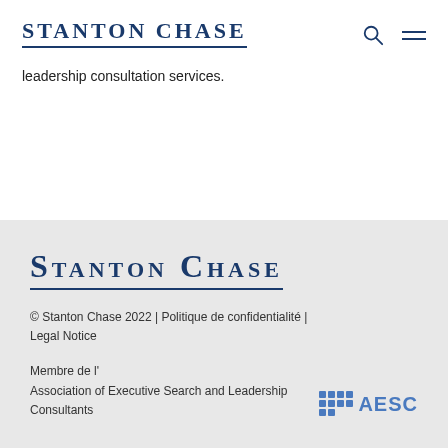STANTON CHASE
leadership consultation services.
[Figure (logo): Stanton Chase logo in footer area, large serif small-caps text in navy blue with underline]
© Stanton Chase 2022 | Politique de confidentialité | Legal Notice

Membre de l' Association of Executive Search and Leadership Consultants